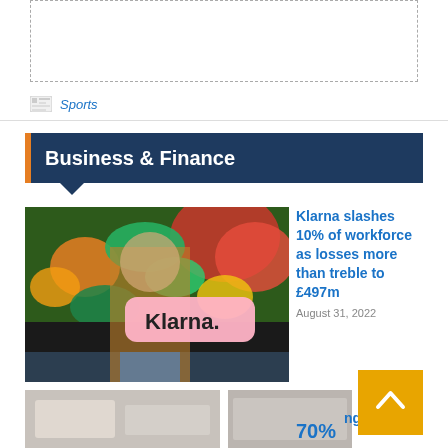[Figure (other): Empty dashed border box at top of page]
Sports
Business & Finance
[Figure (photo): Man in brown jacket standing in front of colorful floral mural with Klarna pink logo sign]
Klarna slashes 10% of workforce as losses more than treble to £497m
August 31, 2022
[Figure (photo): Bottom left partial photo]
[Figure (photo): Bottom right partial photo]
70%